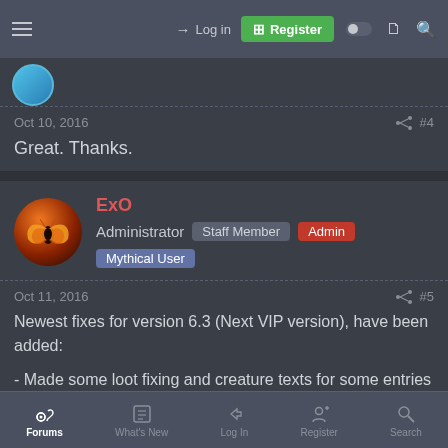Log in | Register
Oct 10, 2016  #4
Great. Thanks.
[Figure (screenshot): User avatar (teal circle, partially visible)]
ExO — Administrator — Staff Member — Admin — Mythical User
Oct 11, 2016  #5
Newest fixes for version 6.3 (Next VIP version), have been added:
- Made some loot fixing and creature texts for some entries at the lower levels.
- Over 1700 of lines dedicated to creature scripting in Twilight
Forums  What's New  Log In  Register  Search